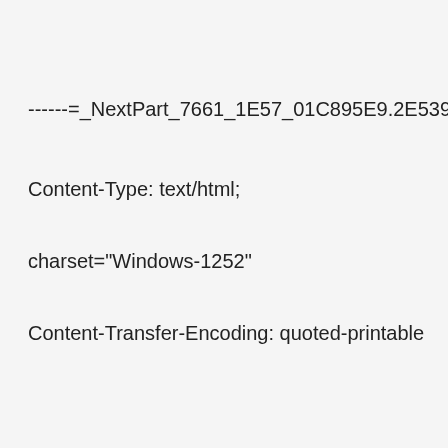------=_NextPart_7661_1E57_01C895E9.2E539F90
Content-Type: text/html;
charset="Windows-1252"
Content-Transfer-Encoding: quoted-printable